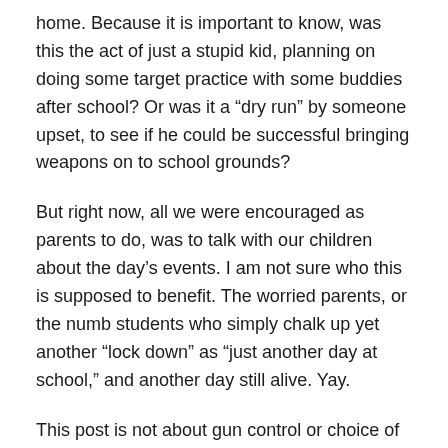home.  Because it is important to know, was this the act of just a stupid kid, planning on doing some target practice with some buddies after school?  Or was it a “dry run” by someone upset, to see if he could be successful bringing weapons on to school grounds?
But right now, all we were encouraged as parents to do, was to talk with our children about the day’s events.  I am not sure who this is supposed to benefit.  The worried parents, or the numb students who simply chalk up yet another “lock down” as “just another day at school,” and another day still alive.  Yay.
This post is not about gun control or choice of weapons.  The truth is, that discussion has been going on since Columbine, and even the unthinkable Sandy Hook massacre was unable to bring our country together, let